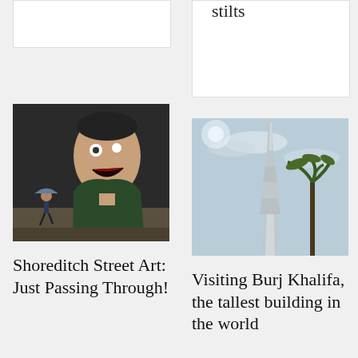[Figure (photo): Partial top of a previous article image (white rectangle, cut off)]
stilts
[Figure (photo): Partial top image on right side (white rectangle, cut off)]
[Figure (photo): Shoreditch street art mural with a person walking with umbrella in front of it]
[Figure (photo): Looking up at Burj Khalifa tower with palm tree and blue sky]
Shoreditch Street Art: Just Passing Through!
Visiting Burj Khalifa, the tallest building in the world